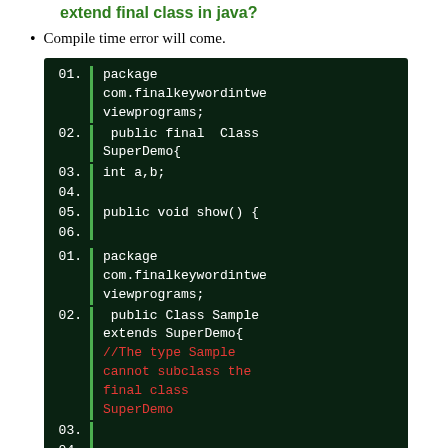extend final class in java?
Compile time error will come.
[Figure (screenshot): Code block showing Java class SuperDemo declared as public final Class SuperDemo with int a,b; and public void show() method printing a and b, lines 01-11]
[Figure (screenshot): Code block showing Java class Sample that extends SuperDemo (a final class), resulting in compile error: //The type Sample cannot subclass the final class SuperDemo, lines 01-05]